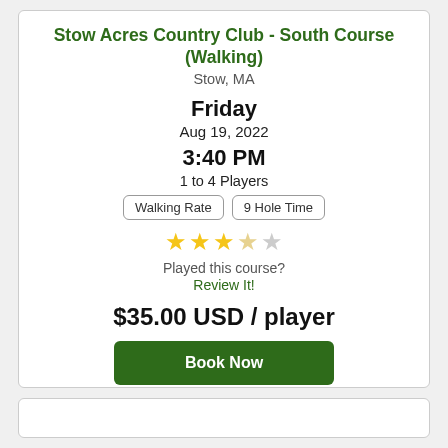Stow Acres Country Club - South Course (Walking)
Stow, MA
Friday
Aug 19, 2022
3:40 PM
1 to 4 Players
Walking Rate | 9 Hole Time
[Figure (other): 3.5 out of 5 stars rating display with 3 filled gold stars and 2 empty stars]
Played this course? Review It!
$35.00 USD / player
Book Now